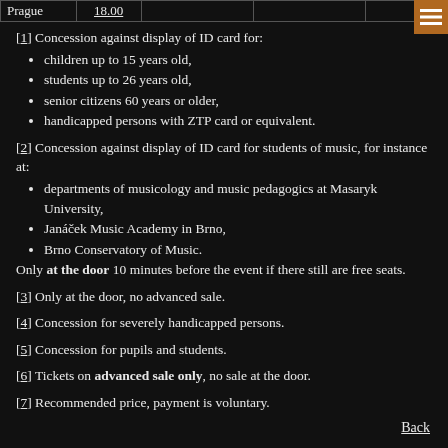| Prague | 18.00 |  |  |  |
| --- | --- | --- | --- | --- |
[1] Concession against display of ID card for: children up to 15 years old, students up to 26 years old, senior citizens 60 years or older, handicapped persons with ZTP card or equivalent.
[2] Concession against display of ID card for students of music, for instance at: departments of musicology and music pedagogics at Masaryk University, Janáček Music Academy in Brno, Brno Conservatory of Music. Only at the door 10 minutes before the event if there still are free seats.
[3] Only at the door, no advanced sale.
[4] Concession for severely handicapped persons.
[5] Concession for pupils and students.
[6] Tickets on advanced sale only, no sale at the door.
[7] Recommended price, payment is voluntary.